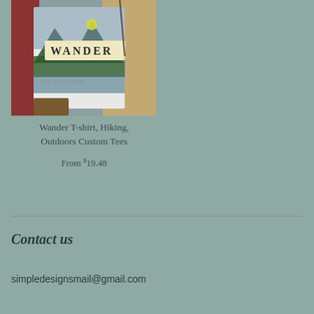[Figure (photo): Photo of a white t-shirt with a 'WANDER' outdoor/hiking design featuring mountains and trees, laid next to a tan jacket]
Wander T-shirt, Hiking, Outdoors Custom Tees
From $19.48
Contact us
simpledesignsmail@gmail.com